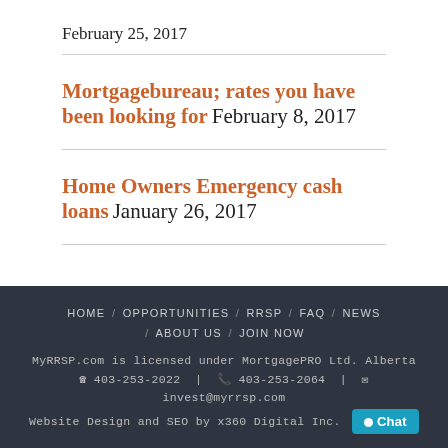February 25, 2017
Mortgagebureau; rates you have been looking for February 8, 2017
Home Owners Emergency cash loans January 26, 2017
HOME / OPPORTUNITIES / RRSP / FAQ / NEWS / ABOUT US / JOIN NOW
MyRRSP.com is licensed under MortgagePRO Ltd. Alberta
☎ 403-253-2022 | 📠 403-253-2064 | ✉
invest@myrrsp.com
Website Design and SEO by x360 Digital Inc. [Chat]